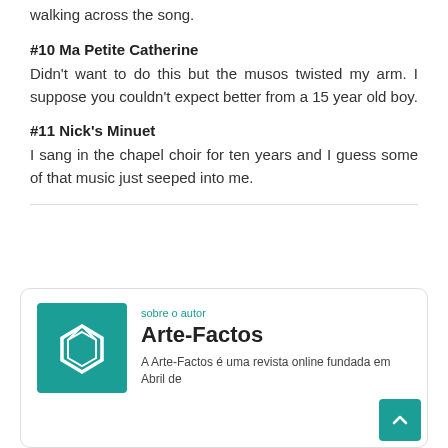walking across the song.
#10 Ma Petite Catherine
Didn't want to do this but the musos twisted my arm. I suppose you couldn't expect better from a 15 year old boy.
#11 Nick's Minuet
I sang in the chapel choir for ten years and I guess some of that music just seeped into me.
[Figure (logo): Arte-Factos logo: teal square with white polygonal gem shape icon]
sobre o autor
Arte-Factos
A Arte-Factos é uma revista online fundada em Abril de